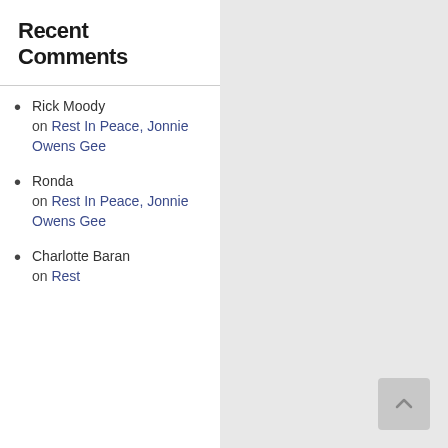Recent Comments
Rick Moody on Rest In Peace, Jonnie Owens Gee
Ronda on Rest In Peace, Jonnie Owens Gee
Charlotte Baran on Rest